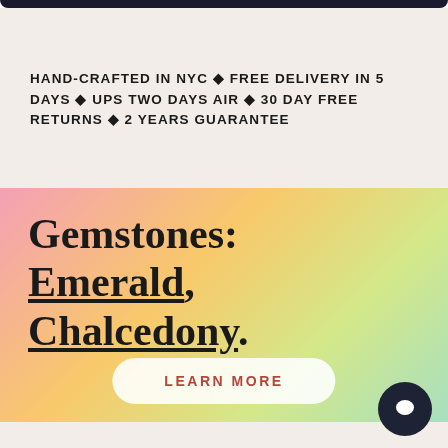HAND-CRAFTED IN NYC ◆ FREE DELIVERY IN 5 DAYS ◆ UPS TWO DAYS AIR ◆ 30 DAY FREE RETURNS ◆ 2 YEARS GUARANTEE
Gemstones: Emerald, Chalcedony
LEARN MORE